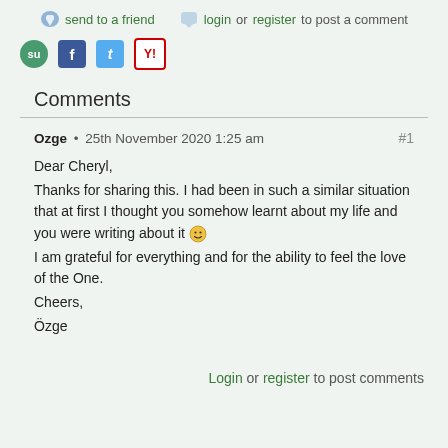send to a friend   login or register to post a comment
[Figure (other): Social sharing icons: StumbleUpon, Facebook, Twitter, Yahoo]
Comments
Ozge • 25th November 2020 1:25 am  #1
Dear Cheryl,
Thanks for sharing this. I had been in such a similar situation that at first I thought you somehow learnt about my life and you were writing about it :)
I am grateful for everything and for the ability to feel the love of the One.
Cheers,
Özge
Login or register to post comments